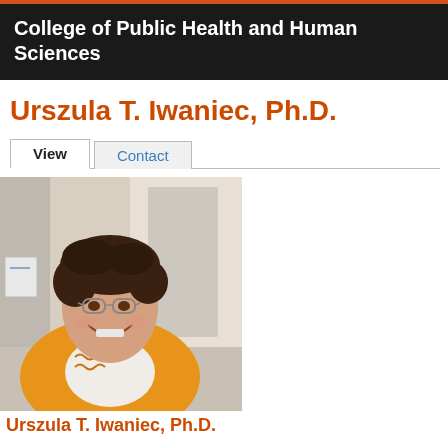College of Public Health and Human Sciences
Urszula T. Iwaniec, Ph.D.
[Figure (photo): Professional headshot of Urszula T. Iwaniec, a woman with short dark curly hair and glasses, smiling, wearing an orange ruffled cardigan over a white shirt, standing in what appears to be a lab or office hallway.]
Urszula T. Iwaniec, Ph.D.